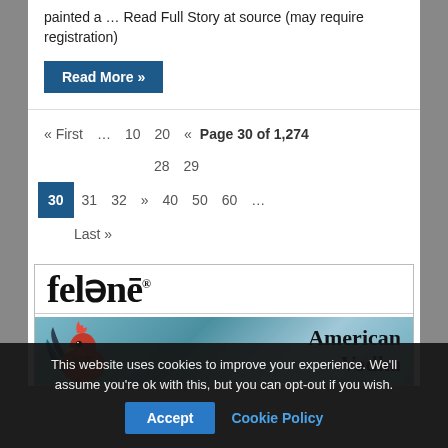painted a … Read Full Story at source (may require registration)
Read More »
« First  …  10  20  «  Page 30 of 1,274  28  29  30  31  32  »  40  50  60  …  Last »
[Figure (illustration): felonē® American Vodka advertisement with a rooster on a blue-teal background]
This website uses cookies to improve your experience. We'll assume you're ok with this, but you can opt-out if you wish.
Accept   Cookie Policy